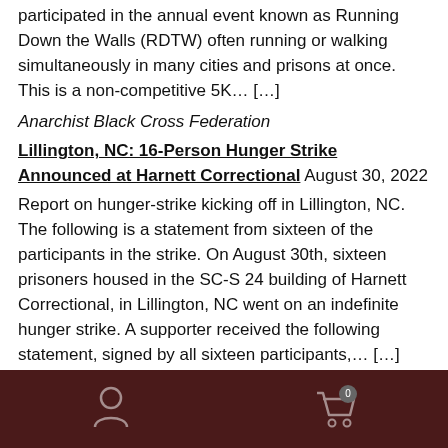participated in the annual event known as Running Down the Walls (RDTW) often running or walking simultaneously in many cities and prisons at once. This is a non-competitive 5K… […]
Anarchist Black Cross Federation
Lillington, NC: 16-Person Hunger Strike Announced at Harnett Correctional August 30, 2022
Report on hunger-strike kicking off in Lillington, NC. The following is a statement from sixteen of the participants in the strike. On August 30th, sixteen prisoners housed in the SC-S 24 building of Harnett Correctional, in Lillington, NC went on an indefinite hunger strike. A supporter received the following statement, signed by all sixteen participants,… […]
On February 1, 2021, Our Online-Shop will be closed. All orders until January 31 will be delivered
Dismiss
We use cookies to ensure that we give you the best experience on our website. If you continue to use this site we will assume that you are happy with it.
Ok